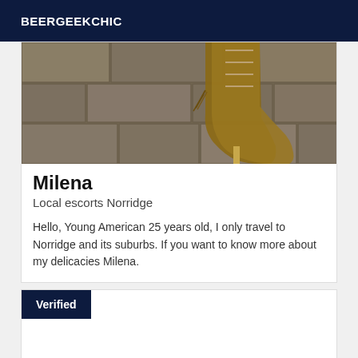BEERGEEKCHIC
[Figure (photo): Photo showing high-heeled boots with fringe and lace-up details on a stone cobblestone floor, taken from a low angle.]
Milena
Local escorts Norridge
Hello, Young American 25 years old, I only travel to Norridge and its suburbs. If you want to know more about my delicacies Milena.
Verified